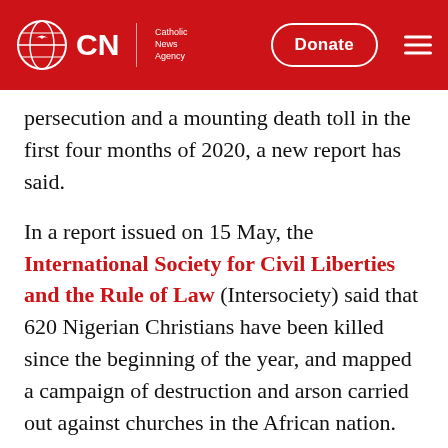CNA | Catholic News Agency — Donate
persecution and a mounting death toll in the first four months of 2020, a new report has said.
In a report issued on 15 May, the International Society for Civil Liberties and the Rule of Law (Intersociety) said that 620 Nigerian Christians have been killed since the beginning of the year, and mapped a campaign of destruction and arson carried out against churches in the African nation.
The society, a non-profit founded in 2008 in Nigeria, works to promote civil liberties, the rule of law, criminal justice reform, and good